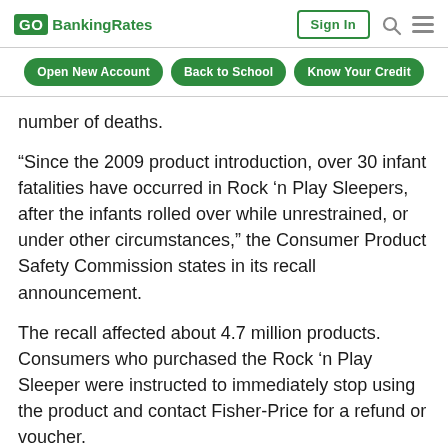GOBankingRates | Sign In
Open New Account | Back to School | Know Your Credit
number of deaths.
“Since the 2009 product introduction, over 30 infant fatalities have occurred in Rock ‘n Play Sleepers, after the infants rolled over while unrestrained, or under other circumstances,” the Consumer Product Safety Commission states in its recall announcement.
The recall affected about 4.7 million products. Consumers who purchased the Rock ‘n Play Sleeper were instructed to immediately stop using the product and contact Fisher-Price for a refund or voucher.